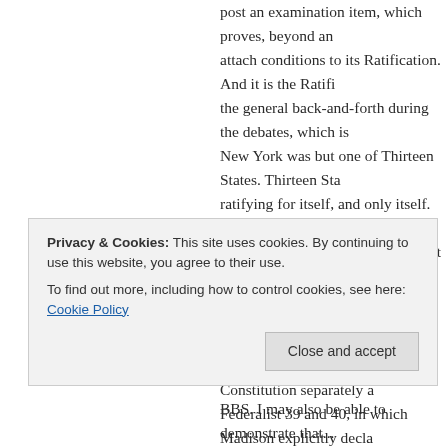post an examination item, which proves, beyond an doubt, attach conditions to its Ratification. And it is the Ratification the general back-and-forth during the debates, which is New York was but one of Thirteen States. Thirteen States ratifying for itself, and only itself. Not one ratification rather, thirteen separate and distinct ratifications. Thirteen
The same is true of Article VII. Although there is a plenty fact that the States ratified the Constitution separately and Federalist 39 and 40, in which Madison explicitly declared the States ratifications will not be a national act, it is the VII that is, here again, controlling and dispositive. And employ a weird constitutional alchemy designed to change "BETWEEN THE STATES SO RATIFYING" to "BETWEEN
Privacy & Cookies: This site uses cookies. By continuing to use this website, you agree to their use.
To find out more, including how to control cookies, see here: Cookie Policy
Close and accept
BBS. I may also be able to demonstrate that...